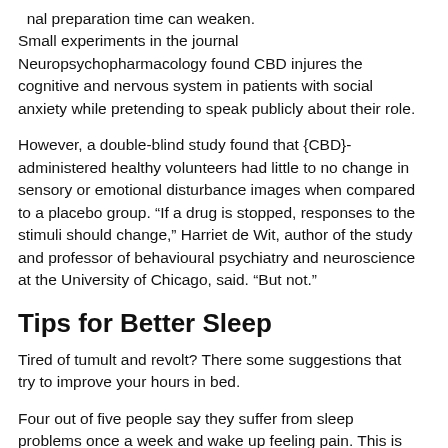onal preparation time can weaken. Small experiments in the journal Neuropsychopharmacology found CBD injures the cognitive and nervous system in patients with social anxiety while pretending to speak publicly about their role.
However, a double-blind study found that {CBD}-administered healthy volunteers had little to no change in sensory or emotional disturbance images when compared to a placebo group. “If a drug is stopped, responses to the stimuli should change,” Harriet de Wit, author of the study and professor of behavioural psychiatry and neuroscience at the University of Chicago, said. “But not.”
Tips for Better Sleep
Tired of tumult and revolt? There some suggestions that try to improve your hours in bed.
Four out of five people say they suffer from sleep problems once a week and wake up feeling pain. This is an honest guide with happy sleepers.